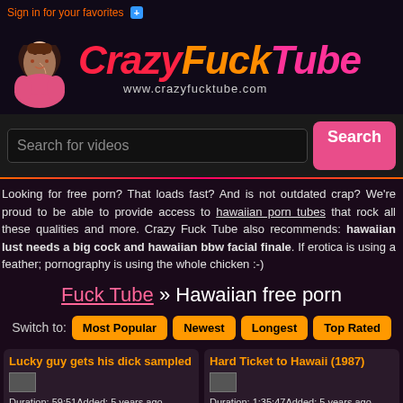Sign in for your favorites +
[Figure (illustration): Website logo banner with stylized pink/orange/red text 'CrazyFuckTube' and illustrated female figure, URL www.crazyfucktube.com]
Search for videos [Search button]
Looking for free porn? That loads fast? And is not outdated crap? We're proud to be able to provide access to hawaiian porn tubes that rock all these qualities and more. Crazy Fuck Tube also recommends: hawaiian lust needs a big cock and hawaiian bbw facial finale. If erotica is using a feather; pornography is using the whole chicken :-)
Fuck Tube » Hawaiian free porn
Switch to: Most Popular | Newest | Longest | Top Rated
Lucky guy gets his dick sampled
Duration: 59:51Added: 5 years ago
RedTube:
Hard Ticket to Hawaii (1987)
Duration: 1:35:47Added: 5 years ago
RedTube: bmovie erotic 1987 hawaii